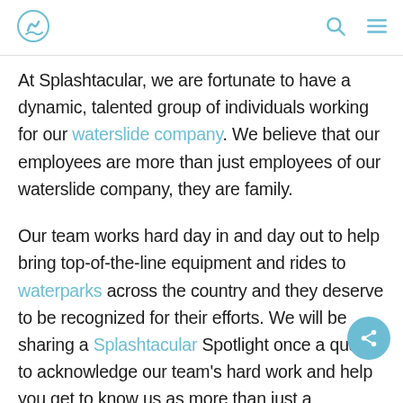Splashtacular logo, search icon, menu icon
At Splashtacular, we are fortunate to have a dynamic, talented group of individuals working for our waterslide company. We believe that our employees are more than just employees of our waterslide company, they are family.
Our team works hard day in and day out to help bring top-of-the-line equipment and rides to waterparks across the country and they deserve to be recognized for their efforts. We will be sharing a Splashtacular Spotlight once a quarter to acknowledge our team's hard work and help you get to know us as more than just a waterslide company.
To be continued...